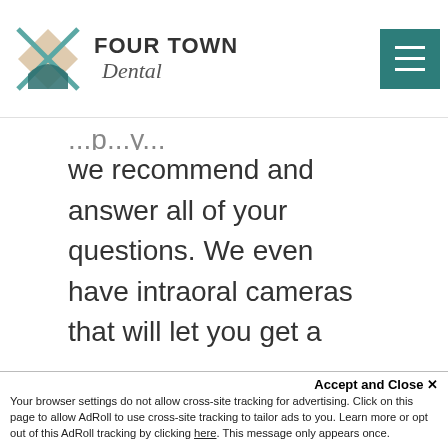Four Town Dental
we recommend and answer all of your questions. We even have intraoral cameras that will let you get a comprehensive look at what is going on in your mouth. Simply understanding your oral health and the reasons behind certain procedures may help you adopt a more positive view of dentistry.

Also, please let us know if there is anything else we can do to help you.
Accept and Close ✕
Your browser settings do not allow cross-site tracking for advertising. Click on this page to allow AdRoll to use cross-site tracking to tailor ads to you. Learn more or opt out of this AdRoll tracking by clicking here. This message only appears once.